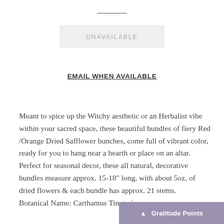[Figure (other): Horizontal divider line near top of page]
UNAVAILABLE
EMAIL WHEN AVAILABLE
Meant to spice up the Witchy aesthetic or an Herbalist vibe within your sacred space, these beautiful bundles of fiery Red /Orange Dried Safflower bunches, come full of vibrant color, ready for you to hang near a hearth or place on an altar. Perfect for seasonal decor, these all natural, decorative bundles measure approx. 15-18" long, with about 5oz. of dried flowers & each bundle has approx. 21 stems.
Botanical Name: Carthamus Tinctorius
Gratitude Points